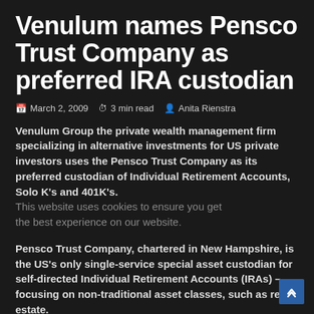Venulum names Pensco Trust Company as preferred IRA custodian
March 2, 2009  3 min read  Anita Rienstra
Venulum Group the private wealth management firm specializing in alternative investments for US private investors uses the Pensco Trust Company as its preferred custodian of Individual Retirement Accounts, Solo K's and 401K's.
Pensco Trust Company, chartered in New Hampshire, is the US's only single-service special asset custodian for self-directed Individual Retirement Accounts (IRAs) – focusing on non-traditional asset classes, such as real estate.